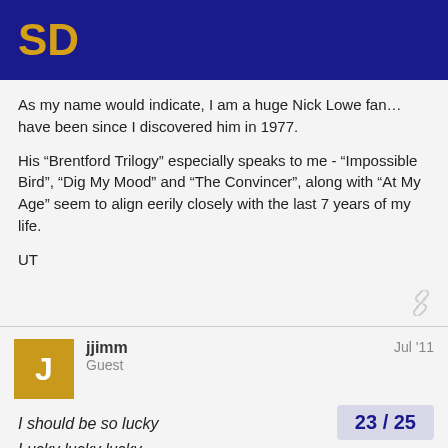SD
As my name would indicate, I am a huge Nick Lowe fan…have been since I discovered him in 1977.
His “Brentford Trilogy” especially speaks to me - “Impossible Bird”, “Dig My Mood” and “The Convincer”, along with “At My Age” seem to align eerily closely with the last 7 years of my life.
UT
jjimm
Guest
Jul '11
I should be so lucky
Lucky lucky lucky
I should be so lucky in love
I should be so lucky
Lucky lucky lucky